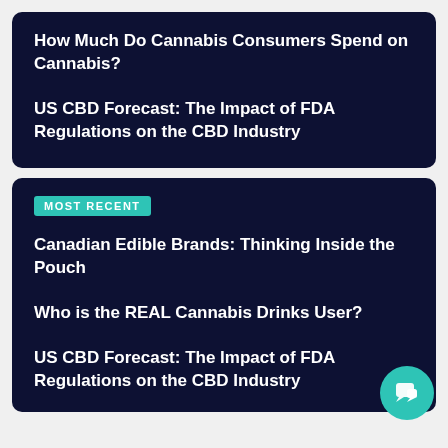How Much Do Cannabis Consumers Spend on Cannabis?
US CBD Forecast: The Impact of FDA Regulations on the CBD Industry
MOST RECENT
Canadian Edible Brands: Thinking Inside the Pouch
Who is the REAL Cannabis Drinks User?
US CBD Forecast: The Impact of FDA Regulations on the CBD Industry